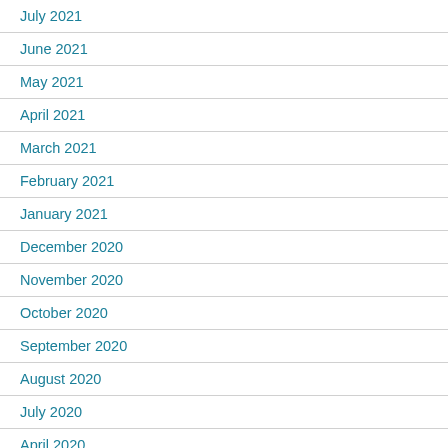July 2021
June 2021
May 2021
April 2021
March 2021
February 2021
January 2021
December 2020
November 2020
October 2020
September 2020
August 2020
July 2020
April 2020